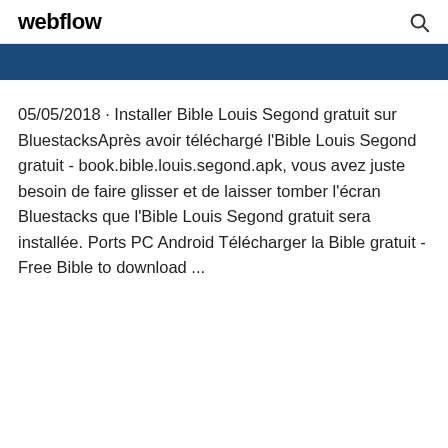webflow
[Figure (other): Dark blue banner bar]
05/05/2018 · Installer Bible Louis Segond gratuit sur BluestacksAprès avoir téléchargé l'Bible Louis Segond gratuit - book.bible.louis.segond.apk, vous avez juste besoin de faire glisser et de laisser tomber l'écran Bluestacks que l'Bible Louis Segond gratuit sera installée. Ports PC Android Télécharger la Bible gratuit - Free Bible to download ...